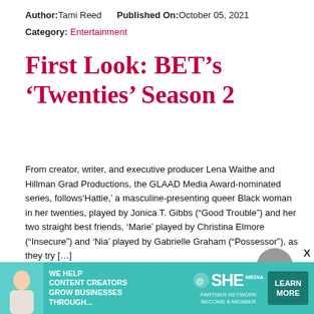Author: Tami Reed   Published On: October 05, 2021   Category: Entertainment
First Look: BET’s ‘Twenties’ Season 2
From creator, writer, and executive producer Lena Waithe and Hillman Grad Productions, the GLAAD Media Award-nominated series, follows‘Hattie,’ a masculine-presenting queer Black woman in her twenties, played by Jonica T. Gibbs (“Good Trouble”) and her two straight best friends, ‘Marie’ played by Christina Elmore (“Insecure”) and ‘Nia’ played by Gabrielle Graham (“Possessor”), as they try […]
Share It!
[Figure (other): Social sharing icons: Facebook, Twitter, Pinterest, LinkedIn, Messenger]
[Figure (other): Advertisement banner: SHE Media Partner Network - We help content creators grow businesses through...]